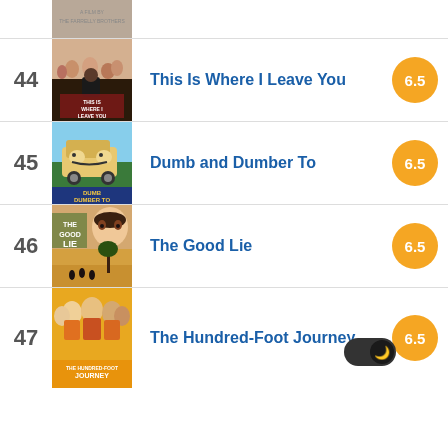[Figure (other): Partial movie poster at top of page]
44 This Is Where I Leave You 6.5
45 Dumb and Dumber To 6.5
46 The Good Lie 6.5
47 The Hundred-Foot Journey 6.5